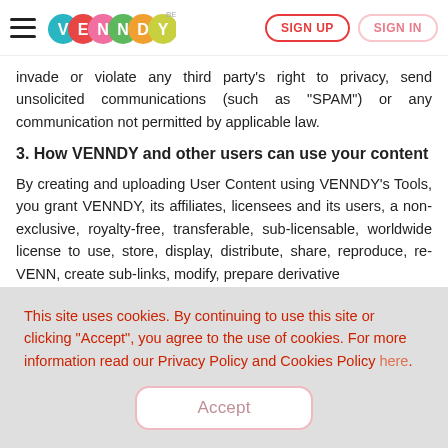VENNDY BETA | SIGN UP | SIGN IN
invade or violate any third party's right to privacy, send unsolicited communications (such as "SPAM") or any communication not permitted by applicable law.
3. How VENNDY and other users can use your content
By creating and uploading User Content using VENNDY's Tools, you grant VENNDY, its affiliates, licensees and its users, a non-exclusive, royalty-free, transferable, sub-licensable, worldwide license to use, store, display, distribute, share, reproduce, re-VENN, create sub-links, modify, prepare derivative
This site uses cookies. By continuing to use this site or clicking "Accept", you agree to the use of cookies. For more information read our Privacy Policy and Cookies Policy here.